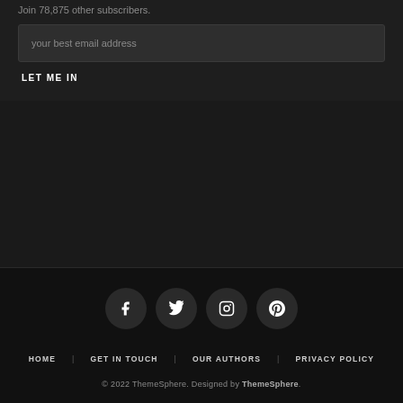Join 78,875 other subscribers.
your best email address
LET ME IN
[Figure (other): Social media icons: Facebook, Twitter, Instagram, Pinterest — each in a dark circle]
HOME   GET IN TOUCH   OUR AUTHORS   PRIVACY POLICY
© 2022 ThemeSphere. Designed by ThemeSphere.